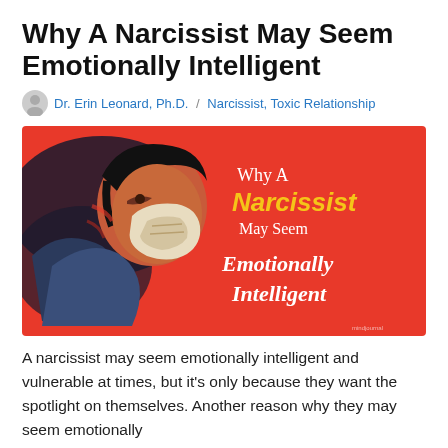Why A Narcissist May Seem Emotionally Intelligent
Dr. Erin Leonard, Ph.D.  /  Narcissist, Toxic Relationship
[Figure (illustration): Stylized illustration on a red background of a person in profile wearing a mask, with text overlay reading 'Why A Narcissist May Seem Emotionally Intelligent']
A narcissist may seem emotionally intelligent and vulnerable at times, but it's only because they want the spotlight on themselves. Another reason why they may seem emotionally